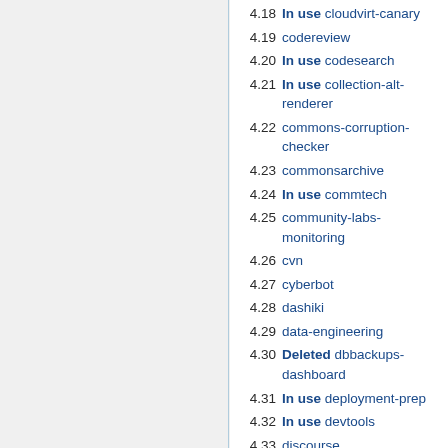4.18 In use cloudvirt-canary
4.19 codereview
4.20 In use codesearch
4.21 In use collection-alt-renderer
4.22 commons-corruption-checker
4.23 commonsarchive
4.24 In use commtech
4.25 community-labs-monitoring
4.26 cvn
4.27 cyberbot
4.28 dashiki
4.29 data-engineering
4.30 Deleted dbbackups-dashboard
4.31 In use deployment-prep
4.32 In use devtools
4.33 discourse